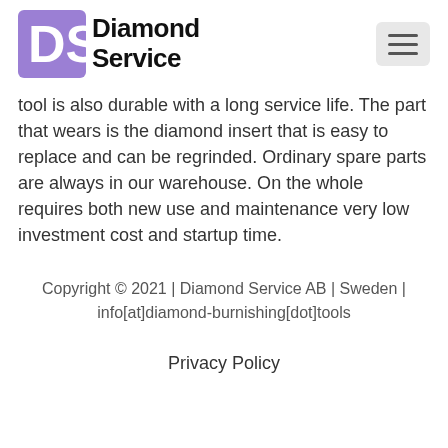[Figure (logo): Diamond Service AB logo with purple DS icon and bold black text 'Diamond Service']
tool is also durable with a long service life. The part that wears is the diamond insert that is easy to replace and can be regrinded. Ordinary spare parts are always in our warehouse. On the whole requires both new use and maintenance very low investment cost and startup time.
Copyright © 2021 | Diamond Service AB | Sweden | info[at]diamond-burnishing[dot]tools
Privacy Policy